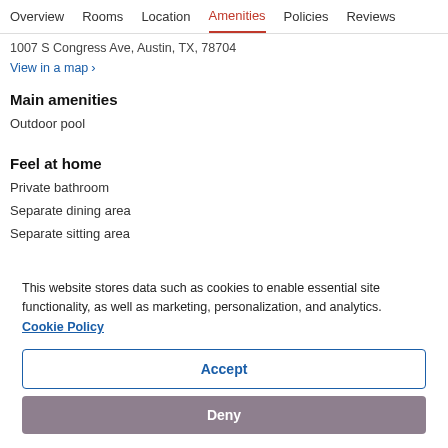Overview  Rooms  Location  Amenities  Policies  Reviews
1007 S Congress Ave, Austin, TX, 78704
View in a map  >
Main amenities
Outdoor pool
Feel at home
Private bathroom
Separate dining area
Separate sitting area
This website stores data such as cookies to enable essential site functionality, as well as marketing, personalization, and analytics. Cookie Policy
Accept
Deny